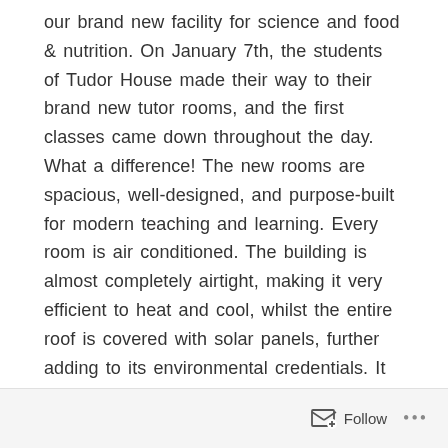our brand new facility for science and food & nutrition. On January 7th, the students of Tudor House made their way to their brand new tutor rooms, and the first classes came down throughout the day. What a difference! The new rooms are spacious, well-designed, and purpose-built for modern teaching and learning. Every room is air conditioned. The building is almost completely airtight, making it very efficient to heat and cool, whilst the entire roof is covered with solar panels, further adding to its environmental credentials. It is fully accessible, with ramps, lifts and adjustable lab and food preparation benches for wheelchair users. The corridors and staircases are wide and airy, with aspects overlooking the fields and out over the tennis courts
Follow ···